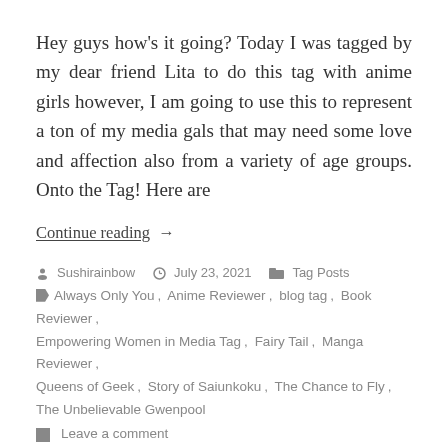Hey guys how's it going? Today I was tagged by my dear friend Lita to do this tag with anime girls however, I am going to use this to represent a ton of my media gals that may need some love and affection also from a variety of age groups. Onto the Tag! Here are
Continue reading  →
Sushirainbow   July 23, 2021   Tag Posts
Always Only You, Anime Reviewer, blog tag, Book Reviewer, Empowering Women in Media Tag, Fairy Tail, Manga Reviewer, Queens of Geek, Story of Saiunkoku, The Chance to Fly, The Unbelievable Gwenpool
Leave a comment